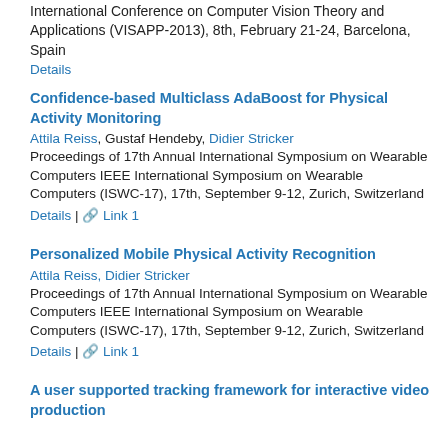International Conference on Computer Vision Theory and Applications (VISAPP-2013), 8th, February 21-24, Barcelona, Spain
Details
Confidence-based Multiclass AdaBoost for Physical Activity Monitoring
Attila Reiss, Gustaf Hendeby, Didier Stricker
Proceedings of 17th Annual International Symposium on Wearable Computers IEEE International Symposium on Wearable Computers (ISWC-17), 17th, September 9-12, Zurich, Switzerland
Details | Link 1
Personalized Mobile Physical Activity Recognition
Attila Reiss, Didier Stricker
Proceedings of 17th Annual International Symposium on Wearable Computers IEEE International Symposium on Wearable Computers (ISWC-17), 17th, September 9-12, Zurich, Switzerland
Details | Link 1
A user supported tracking framework for interactive video production